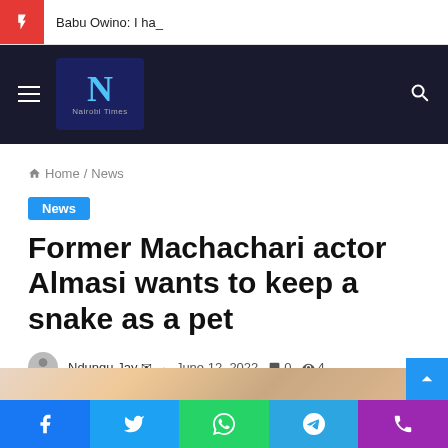Babu Owino: I ha_
[Figure (logo): Nairobi Times logo with 'N' on dark blue background]
Home / News
News
Former Machachari actor Almasi wants to keep a snake as a pet
Ndungu Jay · June 12, 2022 · 0 comments · 4 views · 1 minute read
[Figure (photo): Partial colorful photo strip at bottom of content area]
Social share buttons: Facebook, Twitter, WhatsApp, Telegram, Phone